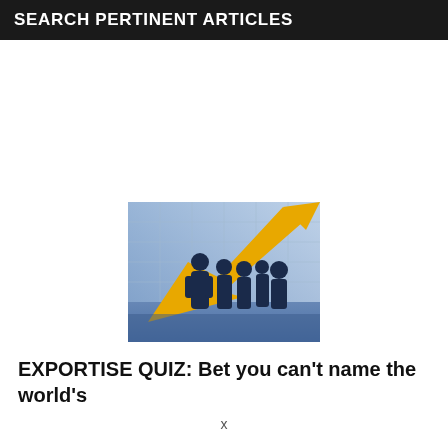SEARCH PERTINENT ARTICLES
[Figure (illustration): Silhouettes of business people standing in front of a bar chart with a golden upward arrow, against a blue background]
EXPORTISE QUIZ: Bet you can't name the world's